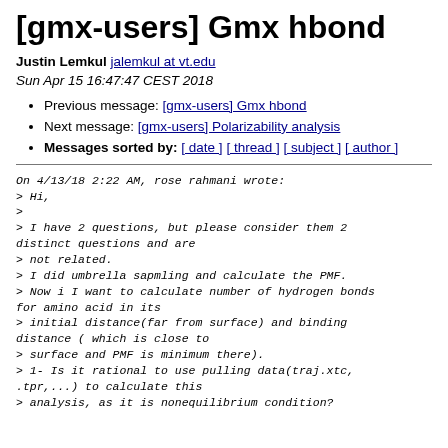[gmx-users] Gmx hbond
Justin Lemkul jalemkul at vt.edu
Sun Apr 15 16:47:47 CEST 2018
Previous message: [gmx-users] Gmx hbond
Next message: [gmx-users] Polarizability analysis
Messages sorted by: [ date ] [ thread ] [ subject ] [ author ]
On 4/13/18 2:22 AM, rose rahmani wrote:
> Hi,
>
> I have 2 questions, but please consider them 2 distinct questions and are
not related.
> I did umbrella sapmling and calculate the PMF.
> Now i I want to calculate number of hydrogen bonds for amino acid in its
initial distance(far from surface) and binding distance ( which is close to
> surface and PMF is minimum there).
> 1- Is it rational to use pulling data(traj.xtc,
.tpr,...) to calculate this
> analysis, as it is nonequilibrium condition?